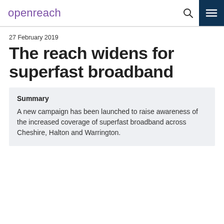openreach
27 February 2019
The reach widens for superfast broadband
Summary
A new campaign has been launched to raise awareness of the increased coverage of superfast broadband across Cheshire, Halton and Warrington.